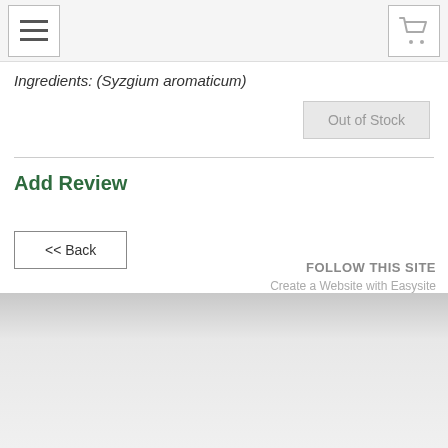Ingredients: (Syzgium aromaticum)
Out of Stock
Add Review
<< Back
FOLLOW THIS SITE
Create a Website with Easysite